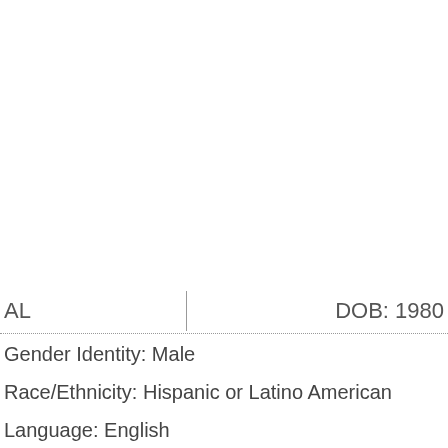AL   DOB: 1980
Gender Identity: Male
Race/Ethnicity: Hispanic or Latino American
Language: English